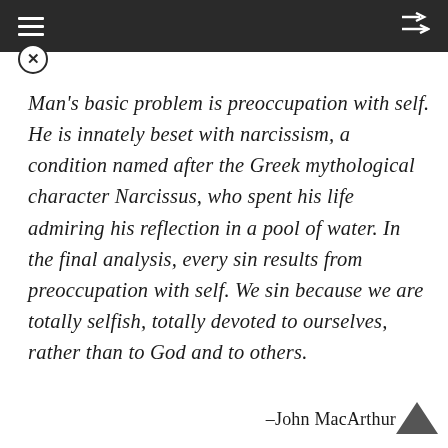≡   ⇌
Man's basic problem is preoccupation with self. He is innately beset with narcissism, a condition named after the Greek mythological character Narcissus, who spent his life admiring his reflection in a pool of water. In the final analysis, every sin results from preoccupation with self. We sin because we are totally selfish, totally devoted to ourselves, rather than to God and to others.
–John MacArthur